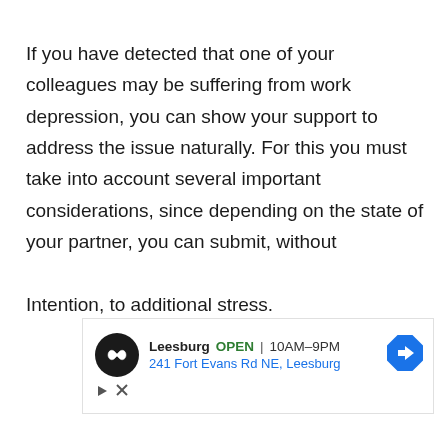If you have detected that one of your colleagues may be suffering from work depression, you can show your support to address the issue naturally. For this you must take into account several important considerations, since depending on the state of your partner, you can submit, without

Intention, to additional stress.
[Figure (infographic): Google Maps advertisement showing Leesburg location: black circular logo with infinity/glasses icon, bold 'Leesburg' text, green 'OPEN' label, hours '10AM-9PM', address '241 Fort Evans Rd NE, Leesburg' in blue, blue diamond navigation arrow icon on the right, with a play button and close X icons at bottom left.]